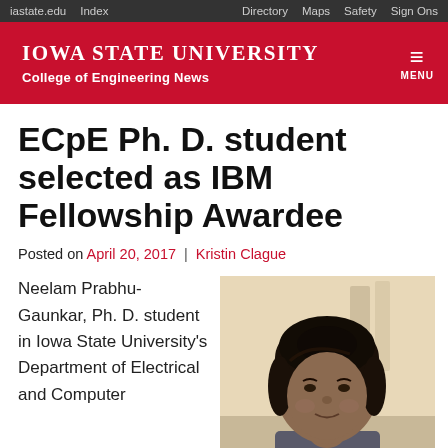iastate.edu  Index  Directory  Maps  Safety  Sign Ons
IOWA STATE UNIVERSITY College of Engineering News  MENU
ECpE Ph. D. student selected as IBM Fellowship Awardee
Posted on April 20, 2017 | Kristin Clague
Neelam Prabhu-Gaunkar, Ph. D. student in Iowa State University's Department of Electrical and Computer
[Figure (photo): Portrait photo of Neelam Prabhu-Gaunkar, a woman with dark hair pulled back, smiling slightly, photographed indoors]